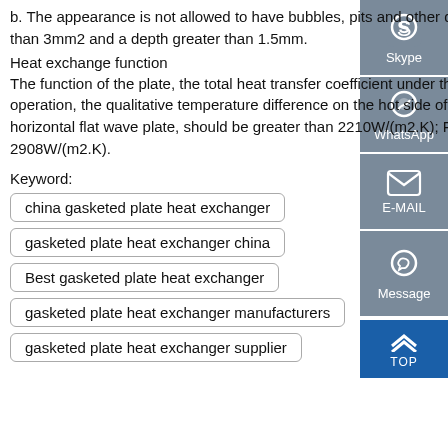b. The appearance is not allowed to have bubbles, pits and other defects that affect the sealing function with an area greater than 3mm2 and a depth greater than 1.5mm.
Heat exchange function
The function of the plate, the total heat transfer coefficient under the conditions of water-water heat exchange, countercurrent operation, the qualitative temperature difference on the hot side of 40°C, and the flow velocity on both sides of 0.5m/s, for the horizontal flat wave plate, should be greater than 2210W/(m2.K); For herringbone corrugated sheet, it should be greater than 2908W/(m2.K).
Keyword:
china gasketed plate heat exchanger
gasketed plate heat exchanger china
Best gasketed plate heat exchanger
gasketed plate heat exchanger manufacturers
gasketed plate heat exchanger supplier